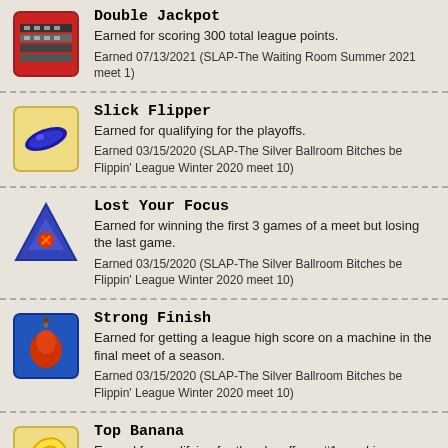Double Jackpot
Earned for scoring 300 total league points.
Earned 07/13/2021 (SLAP-The Waiting Room Summer 2021 meet 1)
Slick Flipper
Earned for qualifying for the playoffs.
Earned 03/15/2020 (SLAP-The Silver Ballroom Bitches be Flippin' League Winter 2020 meet 10)
Lost Your Focus
Earned for winning the first 3 games of a meet but losing the last game.
Earned 03/15/2020 (SLAP-The Silver Ballroom Bitches be Flippin' League Winter 2020 meet 10)
Strong Finish
Earned for getting a league high score on a machine in the final meet of a season.
Earned 03/15/2020 (SLAP-The Silver Ballroom Bitches be Flippin' League Winter 2020 meet 10)
Top Banana
Earned for qualifying for the playoffs as #1 seed in your division.
Earned 03/15/2020 (SLAP-The Silver Ballroom Bitches be Flippin' League Winter 2020 meet 10)